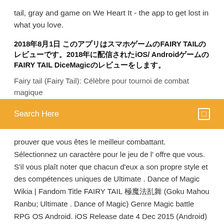tail, gray and game on We Heart It - the app to get lost in what you love.
2018年8月1日 このアプリはスマホゲームのFAIRY TAILのレビューです。2018年に配信されたiOS/ AndroidゲームのFAIRY TAIL DiceMagicのレビューをします。
Fairy tail (Fairy Tail): Célèbre pour tournoi de combat magique
Search Here
prouver que vous êtes le meilleur combattant. Sélectionnez un caractère pour le jeu de l' offre que vous. S'il vous plaît noter que chacun d'eux a son propre style et des compétences uniques de Ultimate . Dance of Magic Wikia | Fandom Title FAIRY TAIL 極魔法乱舞 (Goku Mahou Ranbu; Ultimate . Dance of Magic) Genre Magic battle RPG OS Android. iOS Release date 4 Dec 2015 (Android) Pre-registration for Fairy Tail DiceMagic opens - … Japan-based Fuji Games has just opened pre-registration for Fairy Tail DiceMagic, its mobile game adaptation